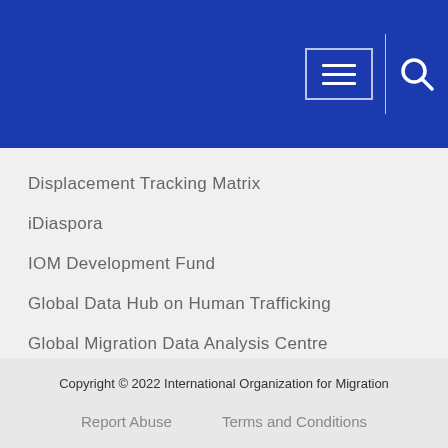[Figure (screenshot): Blue navigation header bar with hamburger menu button and search icon]
Displacement Tracking Matrix
iDiaspora
IOM Development Fund
Global Data Hub on Human Trafficking
Global Migration Data Analysis Centre
Copyright © 2022 International Organization for Migration
Report Abuse   Terms and Conditions